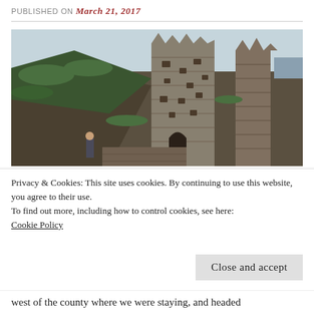PUBLISHED ON March 21, 2017
[Figure (photo): Photograph of ancient stone castle ruins with grass-covered slopes, layered stone walls with holes, an archway visible, and a person standing at the base for scale. Overcast sky visible in background.]
Privacy & Cookies: This site uses cookies. By continuing to use this website, you agree to their use.
To find out more, including how to control cookies, see here:
Cookie Policy
Close and accept
west of the county where we were staying, and headed